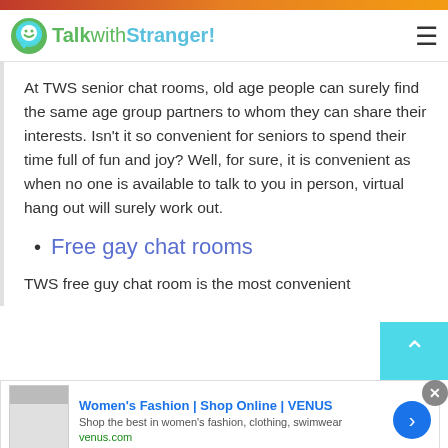TalkwithStranger!
At TWS senior chat rooms, old age people can surely find the same age group partners to whom they can share their interests. Isn't it so convenient for seniors to spend their time full of fun and joy? Well, for sure, it is convenient as when no one is available to talk to you in person, virtual hang out will surely work out.
Free gay chat rooms
TWS free guy chat room is the most convenient
[Figure (screenshot): Advertisement banner for Women's Fashion | Shop Online | VENUS with logo image, title, description 'Shop the best in women's fashion, clothing, swimwear', url venus.com, and a blue arrow button.]